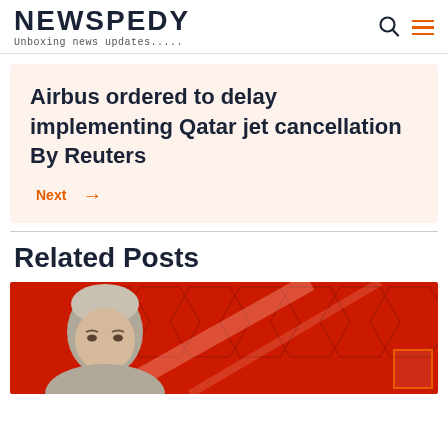NEWSPEDY — Unboxing news updates.....
Airbus ordered to delay implementing Qatar jet cancellation By Reuters
Next →
Related Posts
[Figure (photo): Photo of a man with grey hair against a red hexagonal pattern background, with an orange corner box overlay in the bottom right.]